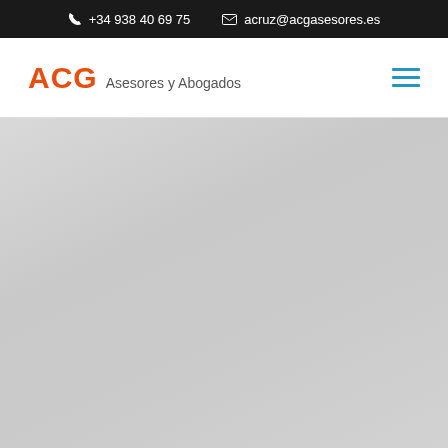+34 938 40 69 75  acruz@acgasesores.es
[Figure (logo): ACG Asesores y Abogados logo with orange ACG text and grey subtitle, plus blue hamburger menu icon]
[Figure (photo): Large grey gradient background area filling the lower portion of the page]